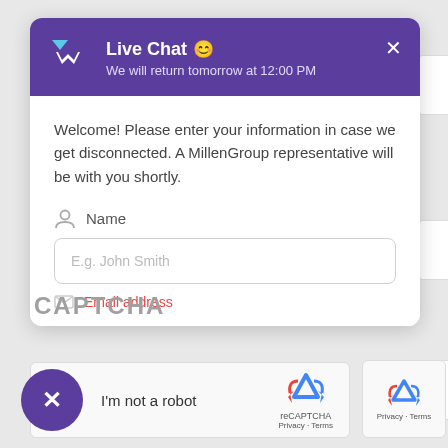[Figure (screenshot): Live Chat widget header with purple background showing MillenGroup logo, 'Live Chat' title with emoji, subtitle 'We will return tomorrow at 12:00 PM', and an X close button]
Welcome! Please enter your information in case we get disconnected. A MillenGroup representative will be with you shortly.
Name
E.g. John Smith
CAPTCHA
[Figure (screenshot): reCAPTCHA checkbox widget with purple X close button circle, 'I'm not a robot' text, reCAPTCHA logo and Privacy/Terms links]
[Figure (screenshot): Small reCAPTCHA widget showing logo and Privacy - Terms links]